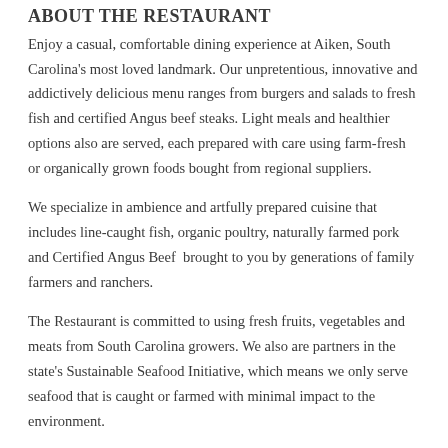ABOUT THE RESTAURANT
Enjoy a casual, comfortable dining experience at Aiken, South Carolina's most loved landmark. Our unpretentious, innovative and addictively delicious menu ranges from burgers and salads to fresh fish and certified Angus beef steaks. Light meals and healthier options also are served, each prepared with care using farm-fresh or organically grown foods bought from regional suppliers.
We specialize in ambience and artfully prepared cuisine that includes line-caught fish, organic poultry, naturally farmed pork and Certified Angus Beef  brought to you by generations of family farmers and ranchers.
The Restaurant is committed to using fresh fruits, vegetables and meats from South Carolina growers. We also are partners in the state's Sustainable Seafood Initiative, which means we only serve seafood that is caught or farmed with minimal impact to the environment.